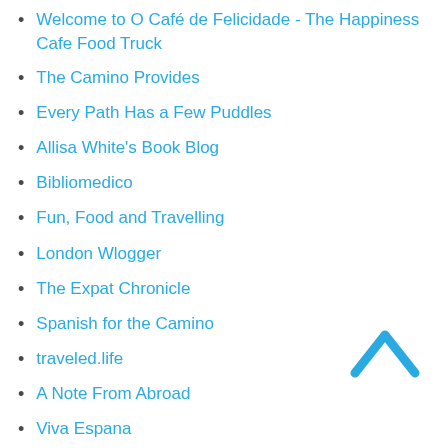Welcome to O Café de Felicidade - The Happiness Cafe Food Truck
The Camino Provides
Every Path Has a Few Puddles
Allisa White's Book Blog
Bibliomedico
Fun, Food and Travelling
London Wlogger
The Expat Chronicle
Spanish for the Camino
traveled.life
A Note From Abroad
Viva Espana
Discover WordPress